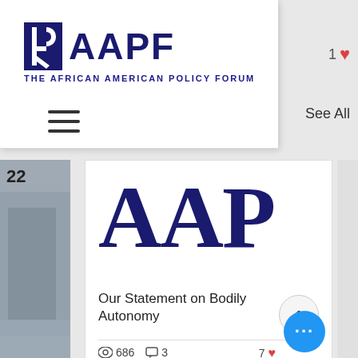[Figure (logo): AAPF - The African American Policy Forum logo with stylized figure icon and bold AAPF text in dark navy blue]
THE AFRICAN AMERICAN POLICY FORUM
[Figure (infographic): Hamburger menu icon (three horizontal lines)]
1
See All
22
[Figure (logo): Large AAP text in dark navy serif font - partial AAPF logo]
Our Statement on Bodily Autonomy
686
3
7